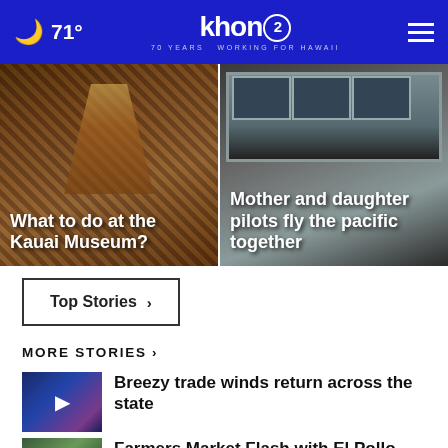🌙 71° | KHON2 Working for Hawaii
[Figure (photo): Hawaiian woven basket hanging against thatched wall with overlay text 'What to do at the Kauai Museum?']
[Figure (photo): Airplane cockpit cockpit view with pilot with overlay text 'Mother and daughter pilots fly the pacific together']
Top Stories ›
MORE STORIES ›
Breezy trade winds return across the state
Farmers Market Flash with El Pollo...